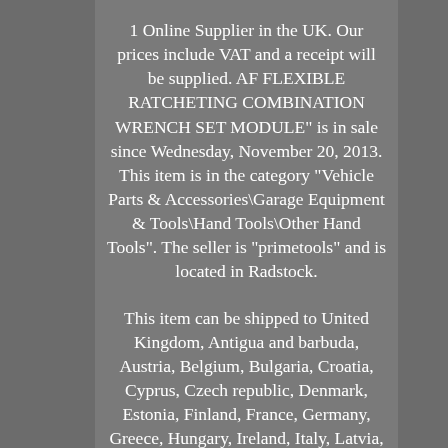1 Online Supplier in the UK. Our prices include VAT and a receipt will be supplied. AF FLEXIBLE RATCHETING COMBINATION WRENCH SET MODULE" is in sale since Wednesday, November 20, 2013. This item is in the category "Vehicle Parts & Accessories\Garage Equipment & Tools\Hand Tools\Other Hand Tools". The seller is "primetools" and is located in Radstock.
This item can be shipped to United Kingdom, Antigua and barbuda, Austria, Belgium, Bulgaria, Croatia, Cyprus, Czech republic, Denmark, Estonia, Finland, France, Germany, Greece, Hungary, Ireland, Italy, Latvia, Lithuania, Luxembourg, Malta, Netherlands, Poland, Portugal, Romania, Slovakia, Slovenia, Spain, Sweden, Australia, United States, Bahrain, Canada, Brazil, Japan, New Zealand, China, Israel, Hong Kong, Norway, Indonesia, Malaysia, Mexico, Singapore, South Korea, Switzerland,